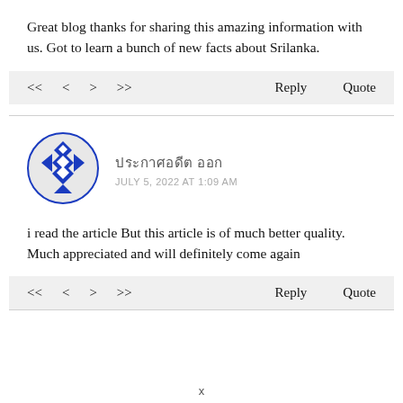Great blog thanks for sharing this amazing information with us. Got to learn a bunch of new facts about Srilanka.
<< < > >> Reply Quote
[Figure (illustration): Blue geometric diamond/knot pattern avatar icon]
ประกาศอดีต ออก
JULY 5, 2022 AT 1:09 AM
i read the article But this article is of much better quality. Much appreciated and will definitely come again
<< < > >> Reply Quote
x